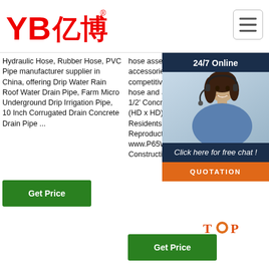[Figure (logo): YB亿博 company logo in red with registered trademark symbol]
[Figure (screenshot): Hamburger menu icon button in top right corner]
Hydraulic Hose, Rubber Hose, PVC Pipe manufacturer supplier in China, offering Drip Water Rain Roof Water Drain Pipe, Farm Micro Underground Drip Irrigation Pipe, 10 Inch Corrugated Drain Concrete Drain Pipe ...
[Figure (other): Green 'Get Price' button]
hose assemblies and pumping accessories. Shop now for low competitive prices on concrete hose and accessories! ... 4' x 3-1/2' Concrete Steel Reducer Pipe (HD x HD) $77.00 For California Residents:WARNING: and Reproductive Harm - www.P65Warnings.ca.gov ... Construction Black ...
[Figure (other): Green 'Get Price' button]
: Industrial Hose, Solar, The, Clip, Cat, Cat, Equ, Indu, Airli, Pne, Re, Hose, Ada Fittings, Malleable Iron Fittings & Steel Tube, Washdown & Fuelling, Hose Assemblies, Pneumatic Quick Release Couplings,
[Figure (photo): 24/7 Online chat widget with a photo of a woman wearing a headset, Click here for free chat message, and QUOTATION button]